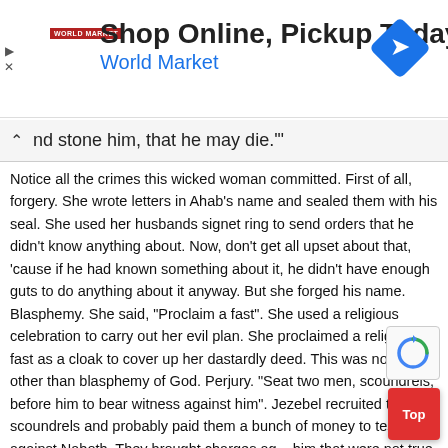[Figure (screenshot): Advertisement banner for World Market: 'Shop Online, Pickup Today' with World Market logo and blue navigation arrow diamond icon on the right. Small play and close icons on the left side.]
nd stone him, that he may die.'"
Notice all the crimes this wicked woman committed. First of all, forgery. She wrote letters in Ahab's name and sealed them with his seal. She used her husbands signet ring to send orders that he didn't know anything about. Now, don't get all upset about that, 'cause if he had known something about it, he didn't have enough guts to do anything about it anyway. But she forged his name. Blasphemy. She said, "Proclaim a fast". She used a religious celebration to carry out her evil plan. She proclaimed a religious fast as a cloak to cover up her dastardly deed. This was nothing other than blasphemy of God. Perjury. "Seat two men, scoundrels, before him to bear witness against him". Jezebel recruited two scoundrels and probably paid them a bunch of money to testify against Naboth. They brought charges against him that were not true. They said that he had blasphemed God and the king, which he had never done. And then murder. They...